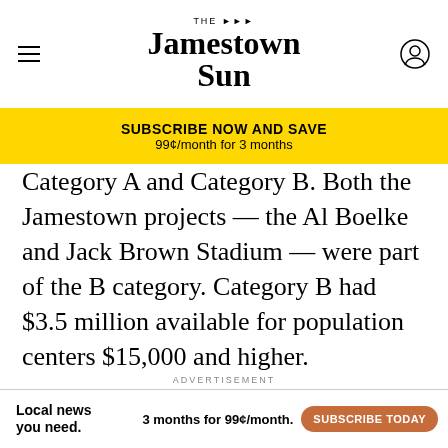The Jamestown Sun
SUBSCRIBE NOW AND SAVE
99¢/month for 3 months
Category A and Category B. Both the Jamestown projects — the Al Boelke and Jack Brown Stadium — were part of the B category. Category B had $3.5 million available for population centers $15,000 and higher.
ADVERTISEMENT
[Figure (illustration): Advertisement showing a book cover titled 'THE GAP' with colorful artwork, a holly decoration, text 'Like to laugh?', and a subscribe bar at the bottom reading 'Local news you need. 3 months for 99¢/month. SUBSCRIBE TODAY']